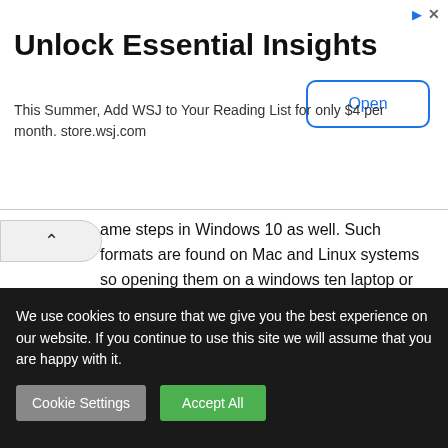[Figure (other): WSJ advertisement banner with title 'Unlock Essential Insights', body text 'This Summer, Add WSJ to Your Reading List for only $4 per month. store.wsj.com', and an 'Open' button]
ame steps in Windows 10 as well. Such formats are found on Mac and Linux systems so opening them on a windows ten laptop or ever tablet can be convenient for the user.
Also Check: How to Get Grammarly Premium Account for Free using New Methods.
We use cookies to ensure that we give you the best experience on our website. If you continue to use this site we will assume that you are happy with it.